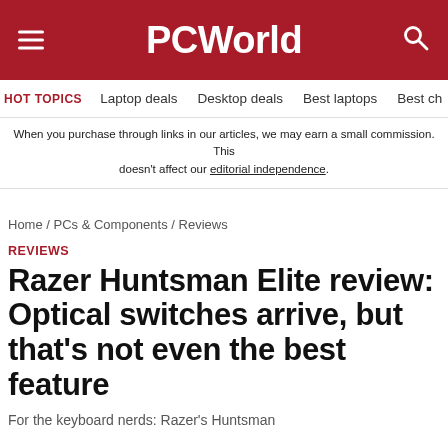PCWorld
HOT TOPICS   Laptop deals   Desktop deals   Best laptops   Best ch
When you purchase through links in our articles, we may earn a small commission. This doesn't affect our editorial independence.
Home / PCs & Components / Reviews
REVIEWS
Razer Huntsman Elite review: Optical switches arrive, but that’s not even the best feature
For the keyboard nerds: Razer’s Huntsman